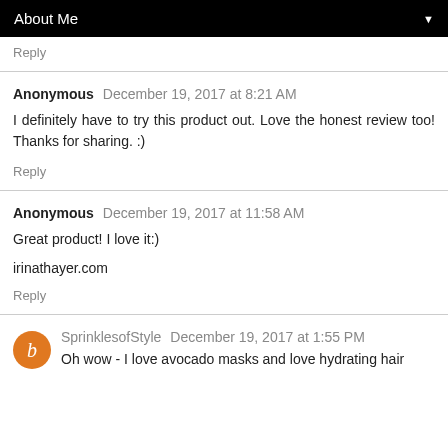About Me
Reply
Anonymous  December 19, 2017 at 8:21 AM
I definitely have to try this product out. Love the honest review too! Thanks for sharing. :)
Reply
Anonymous  December 19, 2017 at 11:58 AM
Great product! I love it:)

irinathayer.com
Reply
SprinklesofStyle  December 19, 2017 at 1:55 PM
Oh wow - I love avocado masks and love hydrating hair